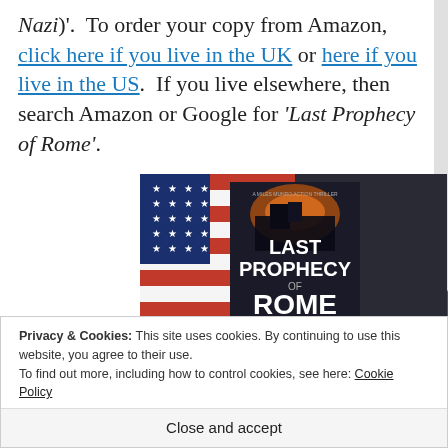Nazi)'.  To order your copy from Amazon, click here if you live in the UK or here if you live in the US.  If you live elsewhere, then search Amazon or Google for 'Last Prophecy of Rome'.
[Figure (photo): Photo of the book 'Last Prophecy of Rome' placed on an American flag, showing the book cover with a dark cityscape and the title text.]
Privacy & Cookies: This site uses cookies. By continuing to use this website, you agree to their use.
To find out more, including how to control cookies, see here: Cookie Policy
Close and accept